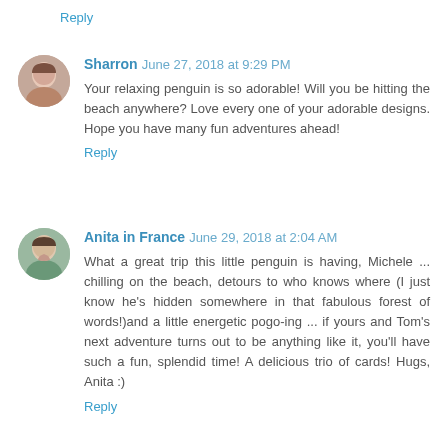Reply
[Figure (photo): Avatar photo of Sharron, an older woman with short gray-brown hair]
Sharron June 27, 2018 at 9:29 PM
Your relaxing penguin is so adorable! Will you be hitting the beach anywhere? Love every one of your adorable designs. Hope you have many fun adventures ahead!
Reply
[Figure (photo): Avatar photo of Anita in France, a middle-aged woman smiling]
Anita in France June 29, 2018 at 2:04 AM
What a great trip this little penguin is having, Michele ... chilling on the beach, detours to who knows where (I just know he's hidden somewhere in that fabulous forest of words!)and a little energetic pogo-ing ... if yours and Tom's next adventure turns out to be anything like it, you'll have such a fun, splendid time! A delicious trio of cards! Hugs, Anita :)
Reply